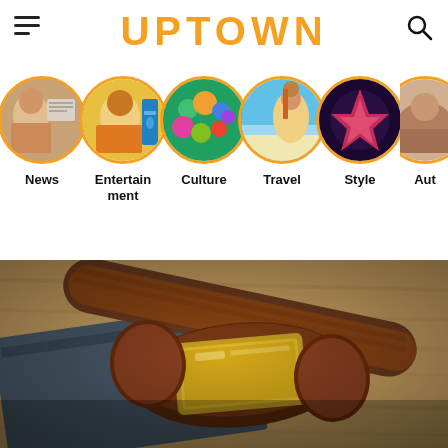UPTOWN
[Figure (screenshot): Navigation categories row with circular photo icons and labels: News, Entertainment, Culture, Travel, Style, Aut...]
[Figure (photo): Close-up photo of a wooden judge's gavel with gold band on a wooden surface with a dark book visible]